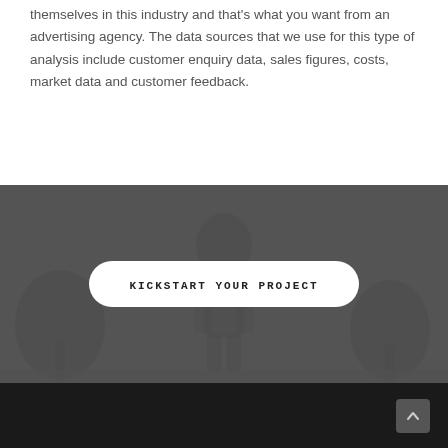themselves in this industry and that's what you want from an advertising agency. The data sources that we use for this type of analysis include customer enquiry data, sales figures, costs, market data and customer feedback.
[Figure (photo): Dark grey section with a blurred silhouette figure in the background, containing a white pill-shaped CTA button labeled KICKSTART YOUR PROJECT]